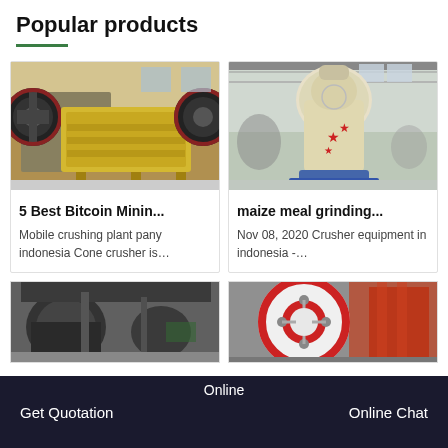Popular products
[Figure (photo): Yellow jaw crusher machine in a factory setting]
5 Best Bitcoin Minin...
Mobile crushing plant pany indonesia Cone crusher is...
[Figure (photo): White/cream vertical grinding mill machine in a factory hall]
maize meal grinding...
Nov 08, 2020 Crusher equipment in indonesia -...
[Figure (photo): Dark crushing plant machinery in a factory]
[Figure (photo): Red and white flywheel/pulley close-up in a factory]
Online
Get Quotation
Online Chat